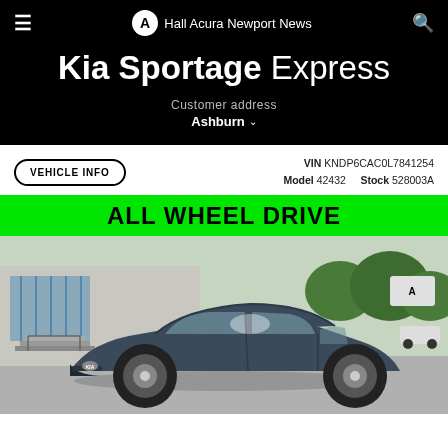Hall Acura Newport News
Kia Sportage Express
Customer address
Ashburn
VEHICLE INFO
VIN KNDP6CAC0L7841254
Model 42432    Stock 528003A
ALL WHEEL DRIVE
[Figure (photo): Dark blue Kia Sportage SUV parked in front of a dealership building with glass facade and trees in background]